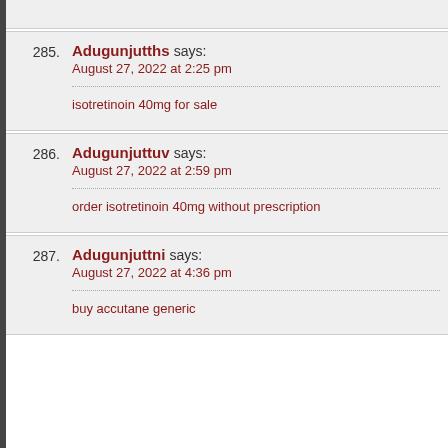285. Adugunjutths says: August 27, 2022 at 2:25 pm — isotretinoin 40mg for sale
286. Adugunjuttuv says: August 27, 2022 at 2:59 pm — order isotretinoin 40mg without prescription
287. Adugunjuttni says: August 27, 2022 at 4:36 pm — buy accutane generic